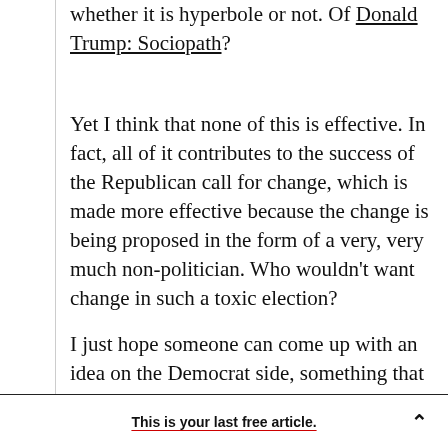whether it is hyperbole or not. Of Donald Trump: Sociopath?
Yet I think that none of this is effective. In fact, all of it contributes to the success of the Republican call for change, which is made more effective because the change is being proposed in the form of a very, very much non-politician. Who wouldn't want change in such a toxic election?
I just hope someone can come up with an idea on the Democrat side, something that everyone can rally behind. Things are getting
This is your last free article.